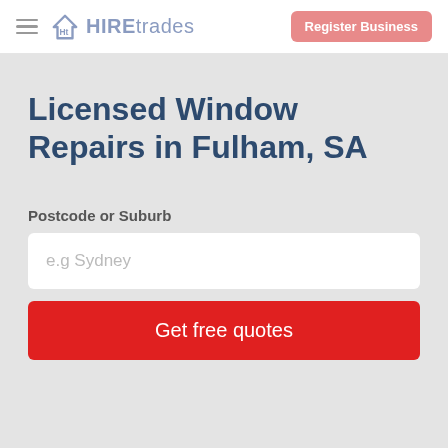HIREtrades — Register Business
Licensed Window Repairs in Fulham, SA
Postcode or Suburb
e.g Sydney
Get free quotes